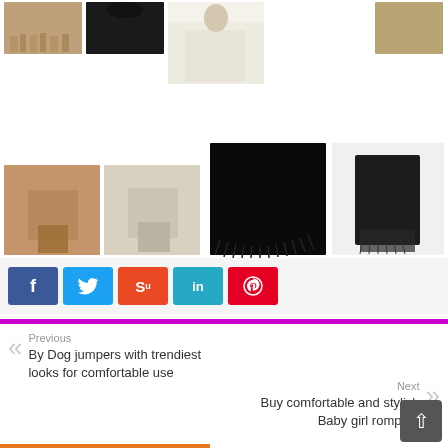[Figure (photo): Grid of shawl and scarf product photos in various colors (tan, black, beige, cream) shown draped and worn]
[Figure (infographic): Social sharing buttons: Facebook (blue), Twitter (light blue), StumbleUpon (orange-red), LinkedIn (teal), Pinterest (red)]
Previous
By Dog jumpers with trendiest looks for comfortable use
Next
Buy comfortable and stylish Baby girl rompers